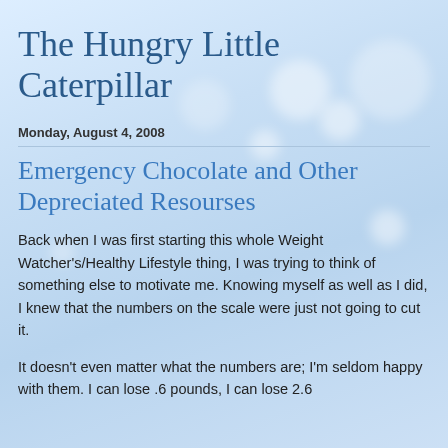The Hungry Little Caterpillar
Monday, August 4, 2008
Emergency Chocolate and Other Depreciated Resourses
Back when I was first starting this whole Weight Watcher's/Healthy Lifestyle thing, I was trying to think of something else to motivate me. Knowing myself as well as I did, I knew that the numbers on the scale were just not going to cut it.
It doesn't even matter what the numbers are; I'm seldom happy with them. I can lose .6 pounds, I can lose 2.6